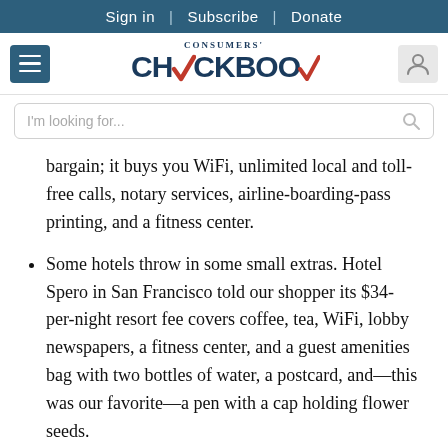Sign in | Subscribe | Donate
[Figure (logo): Consumers' Checkbook logo with hamburger menu and user icon]
I'm looking for...
bargain; it buys you WiFi, unlimited local and toll-free calls, notary services, airline-boarding-pass printing, and a fitness center.
Some hotels throw in some small extras. Hotel Spero in San Francisco told our shopper its $34-per-night resort fee covers coffee, tea, WiFi, lobby newspapers, a fitness center, and a guest amenities bag with two bottles of water, a postcard, and—this was our favorite—a pen with a cap holding flower seeds.